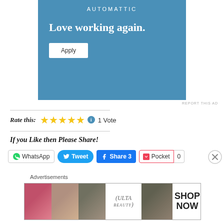[Figure (screenshot): Automattic job advertisement banner with blue background. Shows 'AUTOMATTIC' brand name at top, tagline 'Love working again.' and an 'Apply' button.]
REPORT THIS AD
Rate this:  ★★★★★  1 Vote
If you Like then Please Share!
WhatsApp  Tweet  Share 3  Pocket  0
Advertisements
[Figure (screenshot): Ulta Beauty advertisement strip showing makeup imagery and 'SHOP NOW' text.]